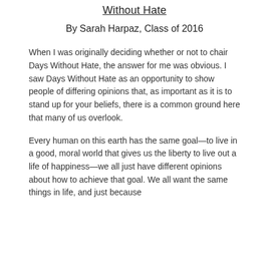Without Hate
By Sarah Harpaz, Class of 2016
When I was originally deciding whether or not to chair Days Without Hate, the answer for me was obvious. I saw Days Without Hate as an opportunity to show people of differing opinions that, as important as it is to stand up for your beliefs, there is a common ground here that many of us overlook.
Every human on this earth has the same goal—to live in a good, moral world that gives us the liberty to live out a life of happiness—we all just have different opinions about how to achieve that goal. We all want the same things in life, and just because